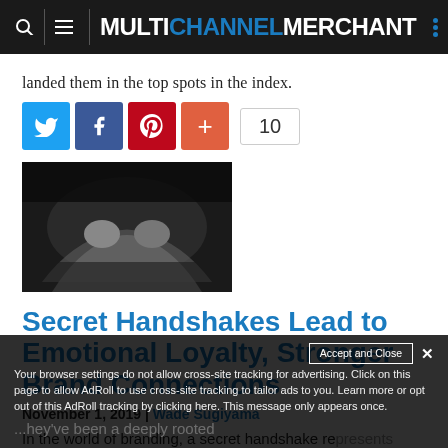MULTICHANNEL MERCHANT
landed them in the top spots in the index.
[Figure (photo): Black and white photo of people performing a handshake or fist bump]
Secret Handshakes Lead to Emotional Loyalty, Stronger Brand Connections
November 1, 2019 | Wade Sugiyama
In the world of branding, a secret handshake represents a...they've been a deeply rooted
Accept and Close ×
Your browser settings do not allow cross-site tracking for advertising. Click on this page to allow AdRoll to use cross-site tracking to tailor ads to you. Learn more or opt out of this AdRoll tracking by clicking here. This message only appears once.